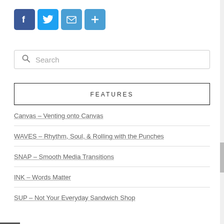[Figure (infographic): Social sharing icons: Facebook (blue), Twitter (blue bird), Email (envelope), More/Plus button]
Search
FEATURES
Canvas – Venting onto Canvas
WAVES – Rhythm, Soul, & Rolling with the Punches
SNAP – Smooth Media Transitions
INK – Words Matter
SUP – Not Your Everyday Sandwich Shop